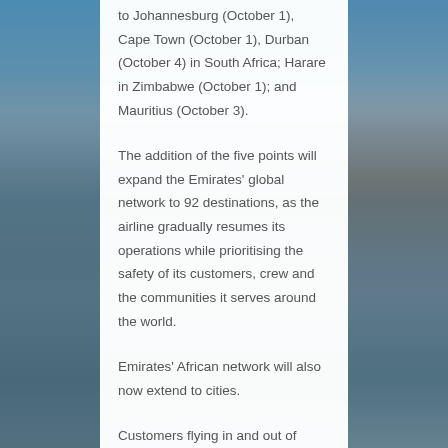to Johannesburg (October 1), Cape Town (October 1), Durban (October 4) in South Africa; Harare in Zimbabwe (October 1); and Mauritius (October 3).
The addition of the five points will expand the Emirates' global network to 92 destinations, as the airline gradually resumes its operations while prioritising the safety of its customers, crew and the communities it serves around the world.
Emirates' African network will also now extend to cities.
Customers flying in and out of Emirates' three South African gateways can connect to Dubai